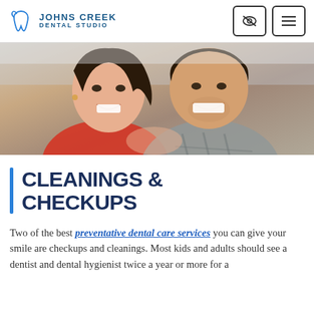Johns Creek Dental Studio
[Figure (photo): Smiling couple, woman in red top leaning on man in plaid shirt, both showing healthy smiles]
CLEANINGS & CHECKUPS
Two of the best preventative dental care services you can give your smile are checkups and cleanings. Most kids and adults should see a dentist and dental hygienist twice a year or more for a